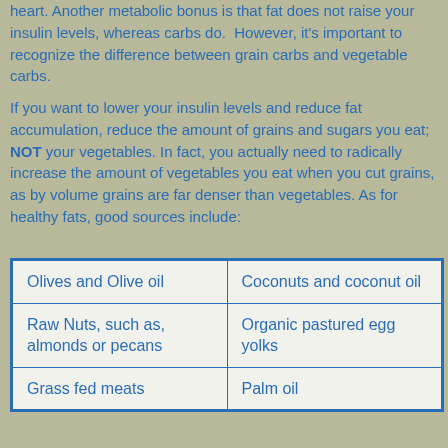heart. Another metabolic bonus is that fat does not raise your insulin levels, whereas carbs do. However, it's important to recognize the difference between grain carbs and vegetable carbs.
If you want to lower your insulin levels and reduce fat accumulation, reduce the amount of grains and sugars you eat; NOT your vegetables. In fact, you actually need to radically increase the amount of vegetables you eat when you cut grains, as by volume grains are far denser than vegetables. As for healthy fats, good sources include:
| Olives and Olive oil | Coconuts and coconut oil |
| Raw Nuts, such as, almonds or pecans | Organic pastured egg yolks |
| Grass fed meats | Palm oil |